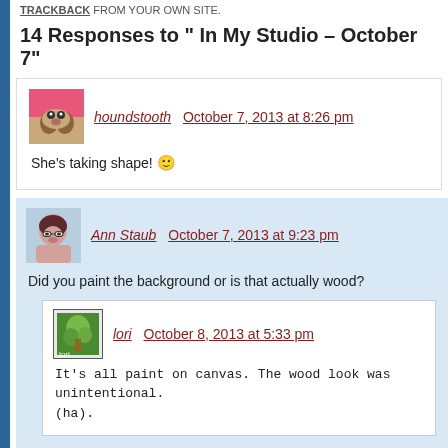TRACKBACK FROM YOUR OWN SITE.
14 Responses to " In My Studio – October 7"
houndstooth   October 7, 2013 at 8:26 pm
She's taking shape! 🙂
Ann Staub   October 7, 2013 at 9:23 pm
Did you paint the background or is that actually wood?
lori   October 8, 2013 at 5:33 pm
It's all paint on canvas. The wood look was unintentional. (ha).